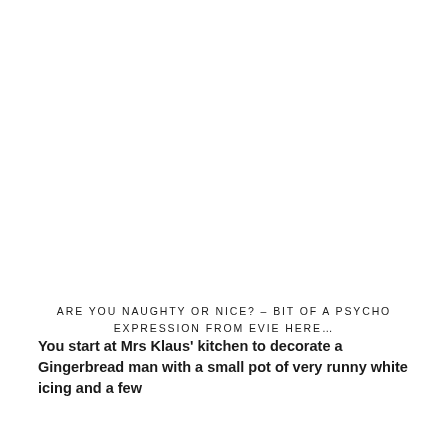ARE YOU NAUGHTY OR NICE? – BIT OF A PSYCHO EXPRESSION FROM EVIE HERE…
You start at Mrs Klaus' kitchen to decorate a Gingerbread man with a small pot of very runny white icing and a few